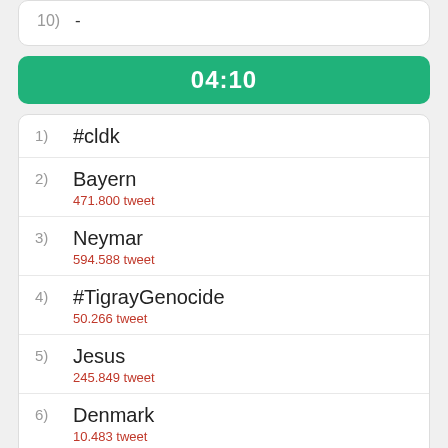10) -
04:10
1) #cldk
2) Bayern
471.800 tweet
3) Neymar
594.588 tweet
4) #TigrayGenocide
50.266 tweet
5) Jesus
245.849 tweet
6) Denmark
10.483 tweet
7) European